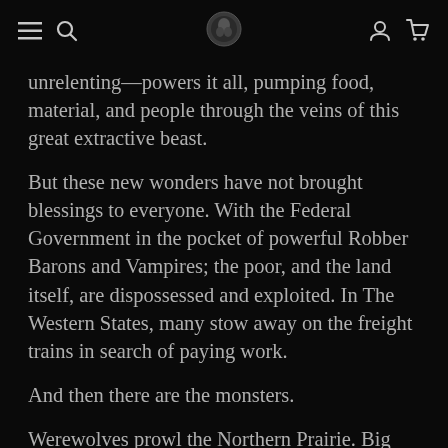Navigation header with menu, search, logo, user, and cart icons
unrelenting—powers it all, pumping food, material, and people through the veins of this great extractive beast.
But these new wonders have not brought blessings to everyone. With the Federal Government in the pocket of powerful Robber Barons and Vampires; the poor, and the land itself, are dispossessed and exploited. In The Western States, many stow away on the freight trains in search of paying work.
And then there are the monsters.
Werewolves prowl the Northern Prairie. Big Foots leave the woods in greater numbers.